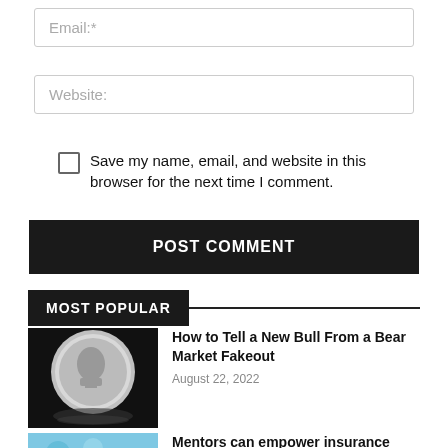Email:*
Website:
Save my name, email, and website in this browser for the next time I comment.
POST COMMENT
MOST POPULAR
[Figure (photo): Silver coin on black background with reflection]
How to Tell a New Bull From a Bear Market Fakeout
August 22, 2022
Mentors can empower insurance
[Figure (photo): Blue sky article thumbnail image (partially visible)]